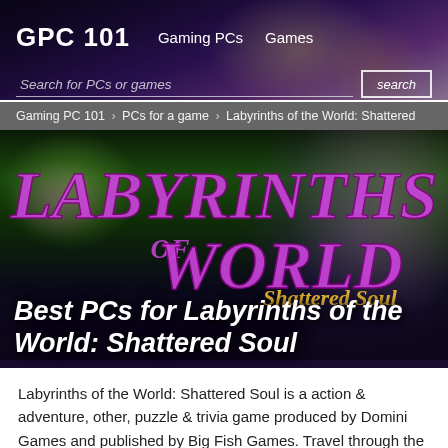GPC 101  Gaming PCs  Games
Search for PCs or games  search
Gaming PC 101 › PCs for a game › Labyrinths of the World: Shattered
[Figure (illustration): Hero banner image for Labyrinths of the World: Shattered Soul game, showing fantastical environment with purple labyrinth logo text and game title overlay]
Best PCs for Labyrinths of the World: Shattered Soul
Labyrinths of the World: Shattered Soul is a action & adventure, other, puzzle & trivia game produced by Domini Games and published by Big Fish Games. Travel through the worlds and save Margaret!